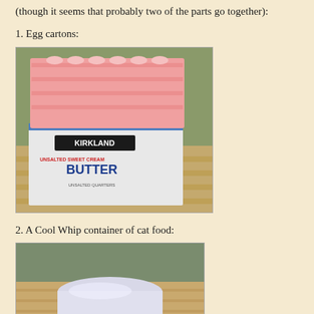(though it seems that probably two of the parts go together):
1. Egg cartons:
[Figure (photo): A stack of pink egg carton trays inside a Kirkland Unsalted Sweet Cream Butter cardboard box, sitting on wooden steps outdoors.]
2. A Cool Whip container of cat food:
[Figure (photo): A white Cool Whip container sitting on a wooden surface, appearing to contain cat food, photographed outdoors.]